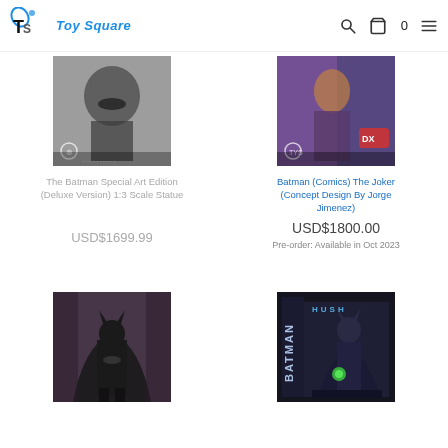TTS Toy Square
[Figure (photo): The Batman Special Art Edition (Deluxe Version) 1:3 Scale Statue product image - Batman figure in dark red/black background]
The Batman Special Art Edition (Deluxe Version) 1:3 Scale Statue
USD$1699.99
[Figure (photo): Batman (Comics) The Joker (Concept Design By Jorge Jimenez) product image - colorful Joker figure with DX label]
Batman (Comics) The Joker (Concept Design By Jorge Jimenez)
USD$1800.00
Pre-order: Available in Oct 2023
[Figure (photo): Batman figure in black suit standing pose against dark background]
[Figure (photo): Batman Hush statue product box image with Batman holding green lantern]